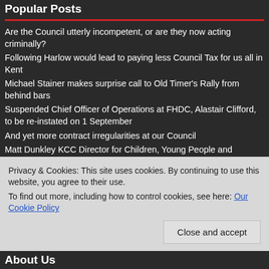Popular Posts
Are the Council utterly incompetent, or are they now acting criminally?
Following Harlow would lead to paying less Council Tax for us all in Kent
Michael Stainer makes surprise call to Old Timer's Rally from behind bars
Suspended Chief Officer of Operations at FHDC, Alastair Clifford, to be re-instated on 1 September
And yet more contract irregularities at our Council
Matt Dunkley KCC Director for Children, Young People and Education to leave KCC
Part 3: KCC Special Education Needs spreading misinformation
Privacy & Cookies: This site uses cookies. By continuing to use this website, you agree to their use.
To find out more, including how to control cookies, see here: Our Cookie Policy
About Us